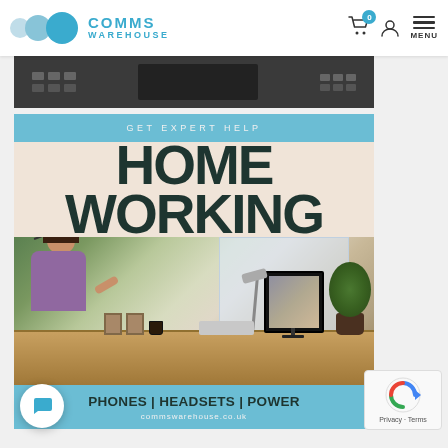Comms Warehouse — navigation header with logo, cart, user icon, and menu
[Figure (screenshot): Partial screenshot of a phone/device keypad at the top of the page]
[Figure (infographic): Promotional banner for Comms Warehouse Home Working products. Blue header strip reads GET EXPERT HELP. Large bold dark text reads HOME WORKING on a peach/cream background. Photo of woman wearing a headset working from a home office desk with monitor, plants, and lamp. Bottom blue bar reads PHONES | HEADSETS | POWER and commswarehouse.co.uk]
GET EXPERT HELP
HOME WORKING
PHONES | HEADSETS | POWER
commswarehouse.co.uk